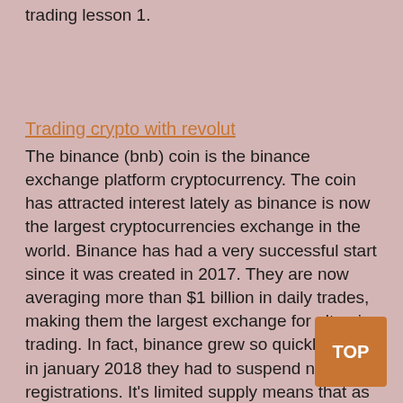trading lesson 1.
Trading crypto with revolut
The binance (bnb) coin is the binance exchange platform cryptocurrency. The coin has attracted interest lately as binance is now the largest cryptocurrencies exchange in the world. Binance has had a very successful start since it was created in 2017. They are now averaging more than $1 billion in daily trades, making them the largest exchange for alt-coin trading. In fact, binance grew so quickly, that in january 2018 they had to suspend new registrations. It's limited supply means that as the exchange continues to grow, so should the demand for the coin. A rise in demand should mean a rise in bnb price. Currently, binance coin is trading at just $9 a coin, way off from it's all time high of $24. Use case: the coin gives a whopping 50% discount on binance fees paid in bnb. You can save more money when holding the binance coin